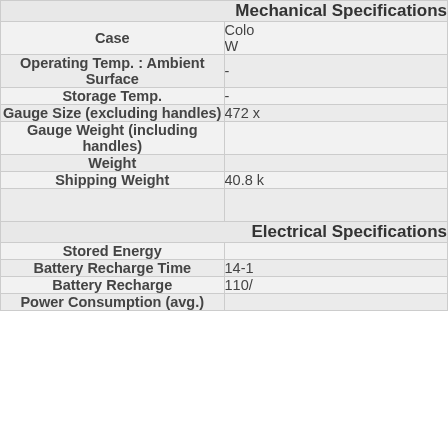| Parameter | Value |
| --- | --- |
| Mechanical Specifications |  |
| Case | Colo
W |
| Operating Temp. : Ambient
Surface | - |
| Storage Temp. | - |
| Gauge Size (excluding handles) | 472 x |
| Gauge Weight (including handles) |  |
| Weight |  |
| Shipping Weight | 40.8 k |
|  |  |
| Electrical Specifications |  |
| Stored Energy |  |
| Battery Recharge Time | 14-1 |
| Battery Recharge | 110/ |
| Power Consumption (avg.) |  |